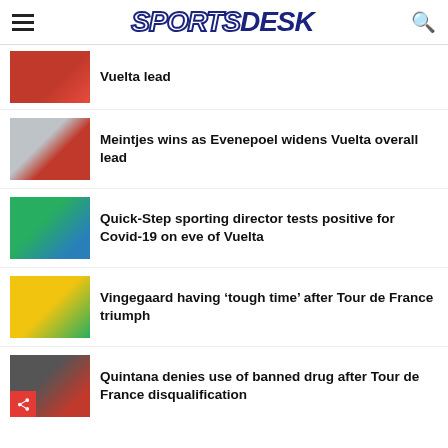SPORTSDESK
Vuelta lead
[Figure (photo): Cyclist in red jersey at Vuelta]
Meintjes wins as Evenepoel widens Vuelta overall lead
[Figure (photo): Cyclist celebrating at Vuelta]
Quick-Step sporting director tests positive for Covid-19 on eve of Vuelta
[Figure (photo): Cyclists racing at Vuelta]
Vingegaard having ‘tough time’ after Tour de France triumph
[Figure (photo): Vingegaard in yellow jersey celebrating]
Quintana denies use of banned drug after Tour de France disqualification
[Figure (photo): Quintana at Tour de France]